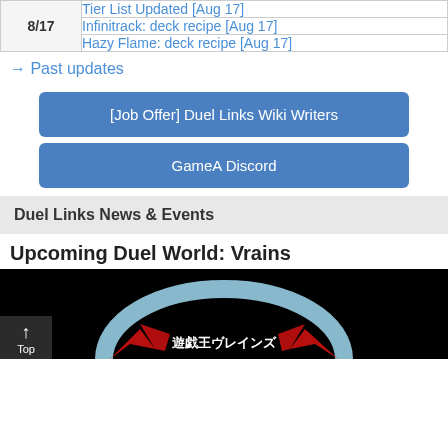| Date | Link |
| --- | --- |
| 8/17 | Tier List Updated [Aug 17] |
| 8/17 | Infinitrack: deck recipe [Aug 17] |
| 8/17 | Hazy Flame: deck recipe [Aug 17] |
→ Past updates
[Job Offer] Duel Links Wiki Writers
GameA Discord
Duel Links News & Events
Upcoming Duel World: Vrains
[Figure (photo): Yu-Gi-Oh Vrains logo image on black background with Japanese text 遊戯王ヴレインズ]